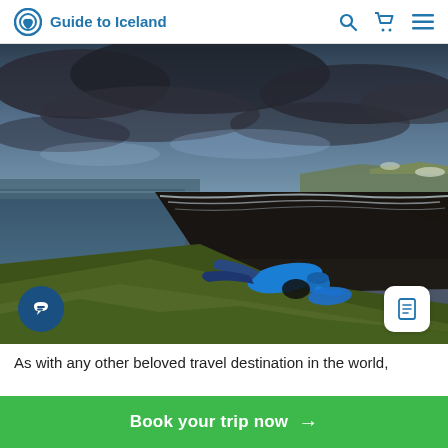Guide to Iceland
[Figure (photo): Aerial view of Iceland's black sand beach coastline with dramatic stormy sky. A person in a blue jacket lies on the green cliff edge in the foreground looking out over the long black beach with white surf and the ocean to the left, volcanic landscape stretching to the right.]
As with any other beloved travel destination in the world,
Book your trip now →